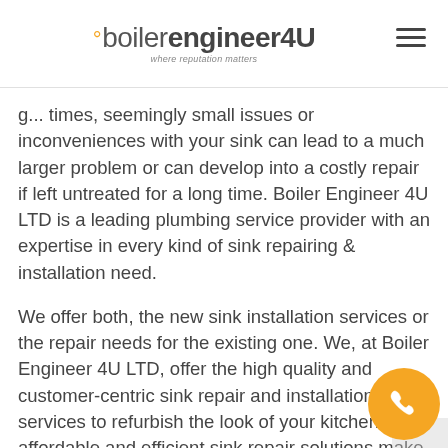°boilerengineer4U — where reputation matters
g... times, seemingly small issues or inconveniences with your sink can lead to a much larger problem or can develop into a costly repair if left untreated for a long time. Boiler Engineer 4U LTD is a leading plumbing service provider with an expertise in every kind of sink repairing & installation need.
We offer both, the new sink installation services or the repair needs for the existing one. We, at Boiler Engineer 4U LTD, offer the high quality and customer-centric sink repair and installation services to refurbish the look of your kitchen. Our affordable and efficient sink repair solutions make us the leading plumbing service provider in the South London area.